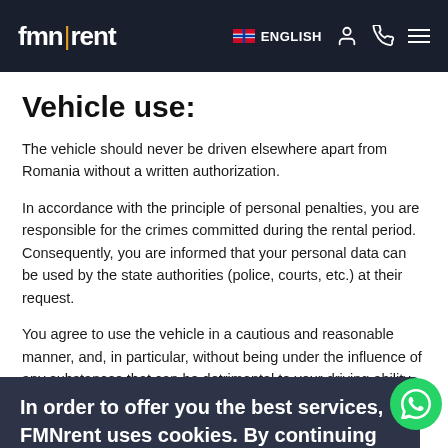fmn|rent  ENGLISH
Vehicle use:
The vehicle should never be driven elsewhere apart from Romania without a written authorization.
In accordance with the principle of personal penalties, you are responsible for the crimes committed during the rental period. Consequently, you are informed that your personal data can be used by the state authorities (police, courts, etc.) at their request.
You agree to use the vehicle in a cautious and reasonable manner, and, in particular, without being under the influence of any substances that can be detrimental to your driving ability, according to the law concerning the public roads as provided in the Highway Code and, according to the purpose of its use, a transport of passengers vehicle, which mainly means, free transport people and also for an utilitarian vehicle, which mainly means transport for goods.
In order to offer you the best services, FMNrent uses cookies. By continuing to browse the site, you are agree with the use of cookies and terms and conditions